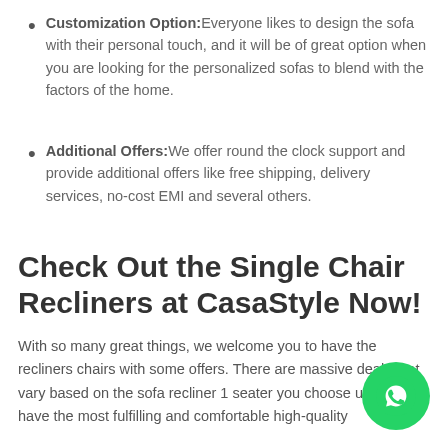Customization Option: Everyone likes to design the sofa with their personal touch, and it will be of great option when you are looking for the personalized sofas to blend with the factors of the home.
Additional Offers: We offer round the clock support and provide additional offers like free shipping, delivery services, no-cost EMI and several others.
Check Out the Single Chair Recliners at CasaStyle Now!
With so many great things, we welcome you to have the recliners chairs with some offers. There are massive deals that vary based on the sofa recliner 1 seater you choose us, you can have the most fulfilling and comfortable high-quality